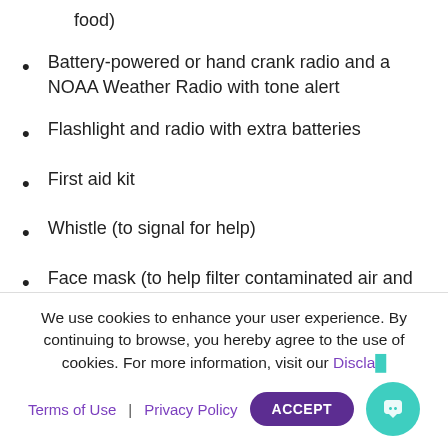food)
Battery-powered or hand crank radio and a NOAA Weather Radio with tone alert
Flashlight and radio with extra batteries
First aid kit
Whistle (to signal for help)
Face mask (to help filter contaminated air and help against the spread of viruses)
Plastic sheeting and duct tape (to shelter in place)
Moist towelettes, garbage bags and plastic ties (for
We use cookies to enhance your user experience. By continuing to browse, you hereby agree to the use of cookies. For more information, visit our Discla...
Terms of Use | Privacy Policy  ACCEPT